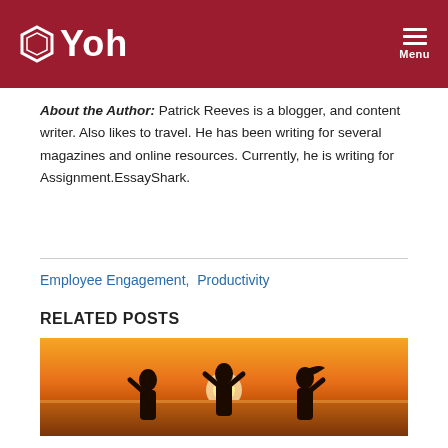Yoh — Menu
About the Author: Patrick Reeves is a blogger, and content writer. Also likes to travel. He has been writing for several magazines and online resources. Currently, he is writing for Assignment.EssayShark.
Employee Engagement, Productivity
RELATED POSTS
[Figure (photo): Silhouettes of three people with raised arms at sunset on a beach]